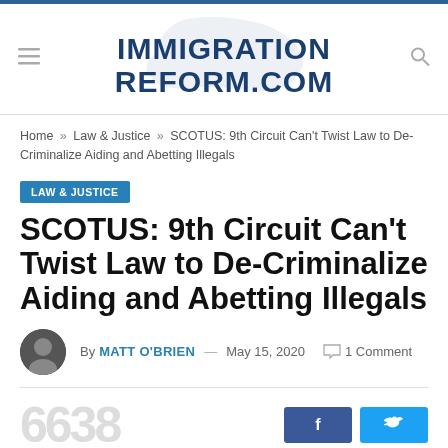IMMIGRATION REFORM.COM
Home » Law & Justice » SCOTUS: 9th Circuit Can't Twist Law to De-Criminalize Aiding and Abetting Illegals
LAW & JUSTICE
SCOTUS: 9th Circuit Can't Twist Law to De-Criminalize Aiding and Abetting Illegals
By MATT O'BRIEN — May 15, 2020  1 Comment